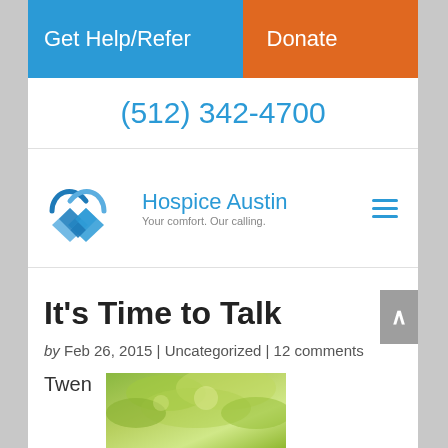Get Help/Refer | Donate
(512) 342-4700
[Figure (logo): Hospice Austin logo — a stylized blue lattice heart shape with 'Hospice Austin / Your comfort. Our calling.' text beside it]
It's Time to Talk
by Feb 26, 2015 | Uncategorized | 12 comments
Twen